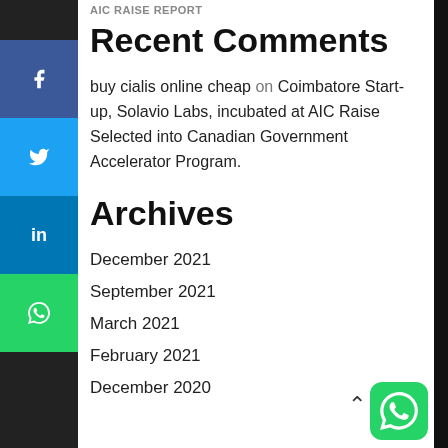AIC RAISE REPORT
Recent Comments
buy cialis online cheap on Coimbatore Start-up, Solavio Labs, incubated at AIC Raise Selected into Canadian Government Accelerator Program.
Archives
December 2021
September 2021
March 2021
February 2021
December 2020